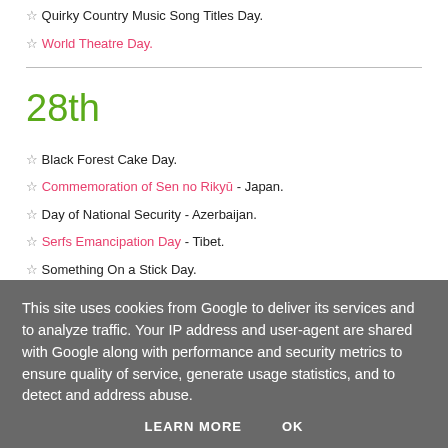☆ Quirky Country Music Song Titles Day.
☆ World Theatre Day.
28th
☆ Black Forest Cake Day.
☆ Commemoration of Sen no Rikyū - Japan.
☆ Day of National Security - Azerbaijan.
☆ Serfs Emancipation Day - Tibet.
☆ Something On a Stick Day.
☆ Teachers' Day - Czech Republic + Slovakia.
This site uses cookies from Google to deliver its services and to analyze traffic. Your IP address and user-agent are shared with Google along with performance and security metrics to ensure quality of service, generate usage statistics, and to detect and address abuse.